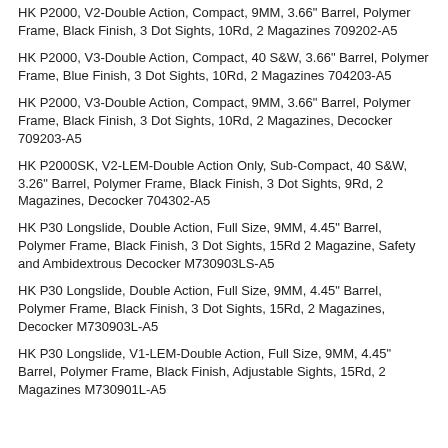HK P2000, V2-Double Action, Compact, 9MM, 3.66" Barrel, Polymer Frame, Black Finish, 3 Dot Sights, 10Rd, 2 Magazines 709202-A5
HK P2000, V3-Double Action, Compact, 40 S&W, 3.66" Barrel, Polymer Frame, Blue Finish, 3 Dot Sights, 10Rd, 2 Magazines 704203-A5
HK P2000, V3-Double Action, Compact, 9MM, 3.66" Barrel, Polymer Frame, Black Finish, 3 Dot Sights, 10Rd, 2 Magazines, Decocker 709203-A5
HK P2000SK, V2-LEM-Double Action Only, Sub-Compact, 40 S&W, 3.26" Barrel, Polymer Frame, Black Finish, 3 Dot Sights, 9Rd, 2 Magazines, Decocker 704302-A5
HK P30 Longslide, Double Action, Full Size, 9MM, 4.45" Barrel, Polymer Frame, Black Finish, 3 Dot Sights, 15Rd 2 Magazine, Safety and Ambidextrous Decocker M730903LS-A5
HK P30 Longslide, Double Action, Full Size, 9MM, 4.45" Barrel, Polymer Frame, Black Finish, 3 Dot Sights, 15Rd, 2 Magazines, Decocker M730903L-A5
HK P30 Longslide, V1-LEM-Double Action, Full Size, 9MM, 4.45" Barrel, Polymer Frame, Black Finish, Adjustable Sights, 15Rd, 2 Magazines M730901L-A5